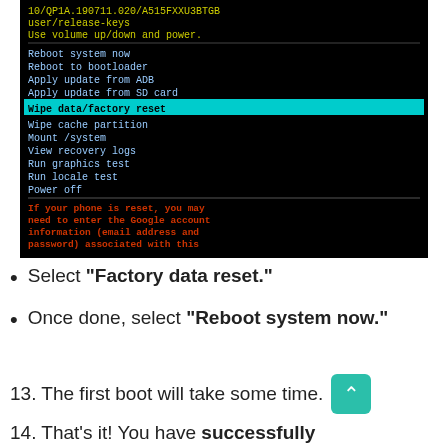[Figure (screenshot): Android recovery mode screen on a Samsung device showing menu options: Reboot system now, Reboot to bootloader, Apply update from ADB, Apply update from SD card (highlighted in cyan: Wipe data/factory reset), Wipe cache partition, Mount /system, View recovery logs, Run graphics test, Run locale test, Power off. Below the menu, red warning text: 'If your phone is reset, you may need to enter the Google account information (email address and password) associated with this phone to be able to use it again.' Top yellow text shows build info: 10/QP1A.190711.020/A515FXXU3BTGB user/release-keys. Use volume up/down and power.]
Select "Factory data reset."
Once done, select "Reboot system now."
13. The first boot will take some time.
14. That's it! You have successfully